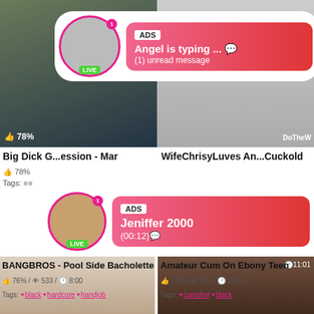[Figure (screenshot): Adult video website screenshot showing two video thumbnails in the top row, with an ad popup overlay showing a profile avatar with LIVE badge, notification dot, and message bubble reading 'ADS / Angel is typing ... / (1) unread message'. Like percentage 78% shown bottom left of left video, watermark DoTheW on right video.]
Big Dick G...ession - Mar
WifeChrisyLuves An...Cuckold
78%
Tags:
[Figure (screenshot): Second ad popup overlay showing profile avatar with LIVE badge, notification dot '1', and message bubble reading 'ADS / Jeniffer 2000 / (00:12)']
[Figure (photo): Adult video thumbnail left: BANGBROS Pool Side Bachelotte. Like 76%, watermark NailyPu]
[Figure (photo): Adult video thumbnail right: Amateur Cum On Ebony Teen. Like 78%, clock 11:01, watermark BAMBULA]
BANGBROS - Pool Side Bacholette
Amateur Cum On Ebony Teen
76% / 533 / 8:00
78% / 327 / 11:01
Tags: black hardcore handjob
Tags: cumshot black